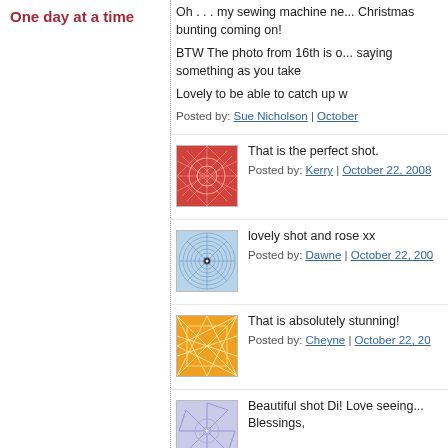One day at a time
Oh . . . my sewing machine ne... Christmas bunting coming on!
BTW The photo from 16th is o... saying something as you take
Lovely to be able to catch up w
Posted by: Sue Nicholson | October
[Figure (photo): Avatar thumbnail – red geometric pattern]
That is the perfect shot.
Posted by: Kerry | October 22, 2008
[Figure (photo): Avatar thumbnail – blue spiral/concentric circle design]
lovely shot and rose xx
Posted by: Dawne | October 22, 200
[Figure (photo): Avatar thumbnail – orange geometric pattern]
That is absolutely stunning!
Posted by: Cheyne | October 22, 20
[Figure (photo): Avatar thumbnail – blue/purple snowflake pattern]
Beautiful shot Di! Love seeing... Blessings,